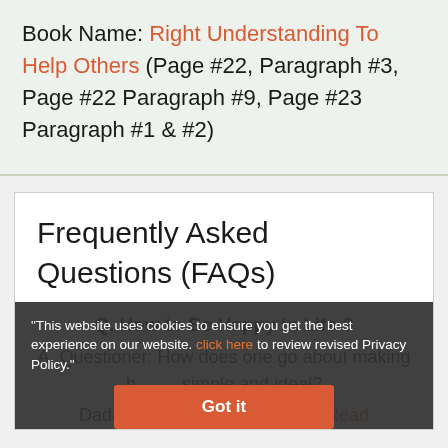Book Name: Right Understanding To Help Others (Page #22, Paragraph #3, Page #22 Paragraph #9, Page #23 Paragraph #1 & #2)
Frequently Asked Questions (FAQs)
Q. How to Be Happy in Life?
A. Questioner: How does one go about making his life simple and ideal?
Dadashri: Maintain an obliging... Read